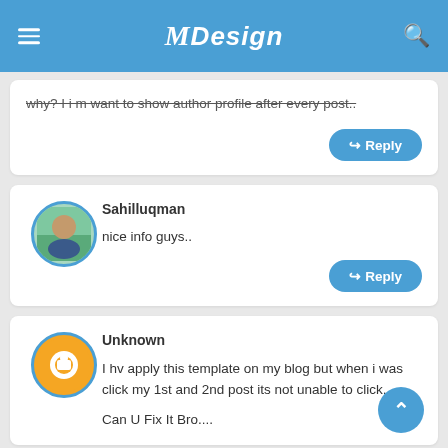MDesign
Why? I i m want to show author profile after every post..
Reply
Sahilluqman
nice info guys..
Reply
Unknown
I hv apply this template on my blog but when i was click my 1st and 2nd post its not unable to click...

Can U Fix It Bro....